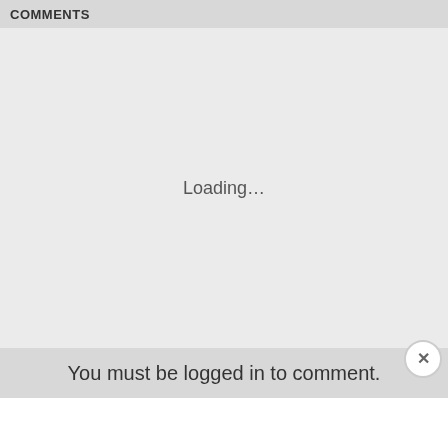COMMENTS
Loading...
You must be logged in to comment.